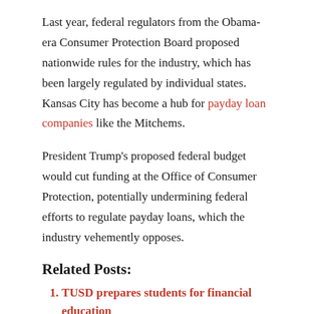Last year, federal regulators from the Obama-era Consumer Protection Board proposed nationwide rules for the industry, which has been largely regulated by individual states. Kansas City has become a hub for payday loan companies like the Mitchems.
President Trump's proposed federal budget would cut funding at the Office of Consumer Protection, potentially undermining federal efforts to regulate payday loans, which the industry vehemently opposes.
Related Posts:
TUSD prepares students for financial education
Earned wage access products face new scrutiny from CFPB and states
China extends its evil tentacles to India, Nepal and Bangladesh as massive financial frauds come to